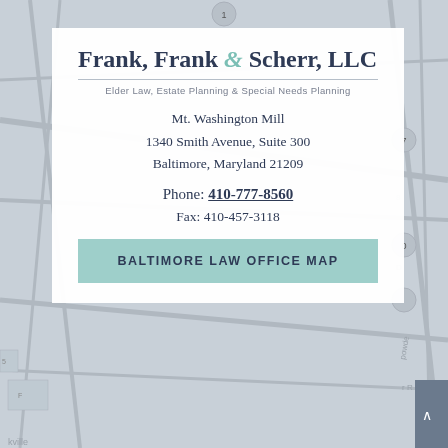[Figure (map): Street map background showing Baltimore area roads and neighborhoods in light gray tones]
Frank, Frank & Scherr, LLC
Elder Law, Estate Planning & Special Needs Planning
Mt. Washington Mill
1340 Smith Avenue, Suite 300
Baltimore, Maryland 21209
Phone: 410-777-8560
Fax: 410-457-3118
BALTIMORE LAW OFFICE MAP